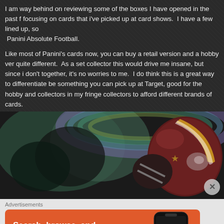I am way behind on reviewing some of the boxes I have opened in the past f... focusing on cards that i've picked up at card shows.  I have a few lined up, so... Panini Absolute Football.
Like most of Panini's cards now, you can buy a retail version and a hobby ver... quite different.  As a set collector this would drive me insane, but since i don't... together, it's no worries to me.  I do think this is a great way to differentiate be... something you can pick up at Target, good for the hobby and collectors in my... fringe collectors to afford different brands of cards.
[Figure (photo): A football player's helmet visible on the right side against a colorful blurred background with rainbow-like hues on a dark field]
Advertisements
[Figure (infographic): DuckDuckGo advertisement banner with orange background showing 'Search, browse, and email with more privacy. All in One Free App' with a phone mockup showing DuckDuckGo logo]